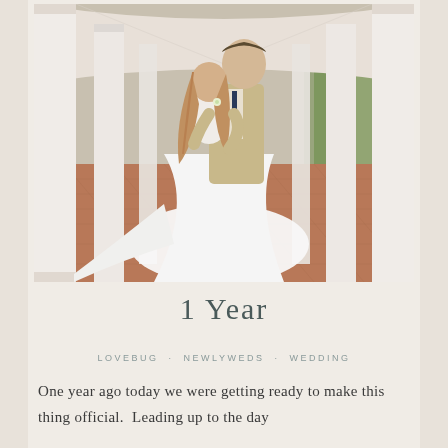[Figure (photo): A bride and groom posing under a white columned colonnade with red brick herringbone flooring. The groom, in a tan suit with a navy tie and boutonniere, is dipping the bride who wears a flowing white wedding gown. Green trees are visible in the background.]
1 Year
LOVEBUG · NEWLYWEDS · WEDDING
One year ago today we were getting ready to make this thing official.  Leading up to the day